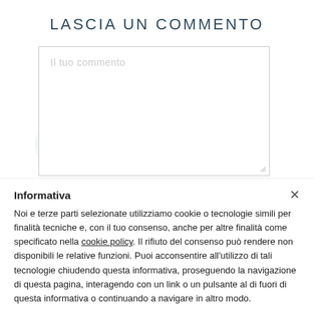LASCIA UN COMMENTO
[Figure (illustration): Light blue decorative blob/shape in the background behind the comment textarea]
Il tuo commento
Informativa
Noi e terze parti selezionate utilizziamo cookie o tecnologie simili per finalità tecniche e, con il tuo consenso, anche per altre finalità come specificato nella cookie policy. Il rifiuto del consenso può rendere non disponibili le relative funzioni. Puoi acconsentire all'utilizzo di tali tecnologie chiudendo questa informativa, proseguendo la navigazione di questa pagina, interagendo con un link o un pulsante al di fuori di questa informativa o continuando a navigare in altro modo.